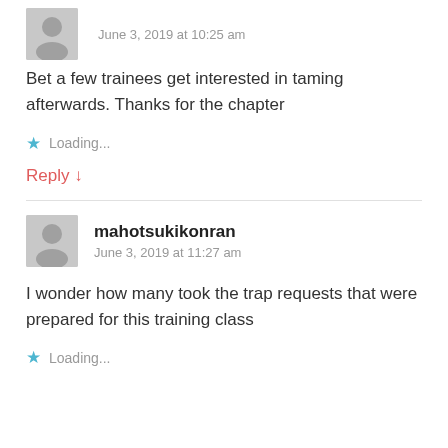June 3, 2019 at 10:25 am
Bet a few trainees get interested in taming afterwards. Thanks for the chapter
Loading...
Reply ↓
mahotsukikonran
June 3, 2019 at 11:27 am
I wonder how many took the trap requests that were prepared for this training class
Loading...